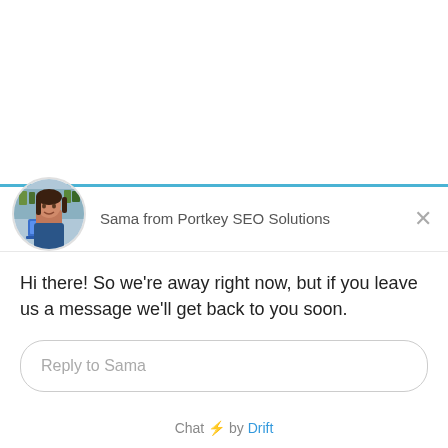[Figure (screenshot): Chat widget header with circular avatar photo of a woman sitting with a laptop, blue top border stripe, name 'Sama from Portkey SEO Solutions', and an X close button]
Hi there! So we're away right now, but if you leave us a message we'll get back to you soon.
Reply to Sama
Chat ⚡ by Drift